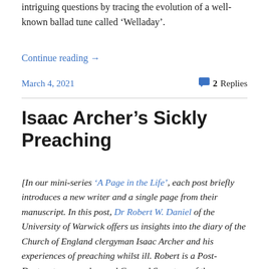intriguing questions by tracing the evolution of a well-known ballad tune called ‘Welladay’.
Continue reading →
March 4, 2021   2 Replies
Isaac Archer’s Sickly Preaching
[In our mini-series ‘A Page in the Life’, each post briefly introduces a new writer and a single page from their manuscript. In this post, Dr Robert W. Daniel of the University of Warwick offers us insights into the diary of the Church of England clergyman Isaac Archer and his experiences of preaching whilst ill. Robert is a Post-Doctorate researcher and General Secretary of the